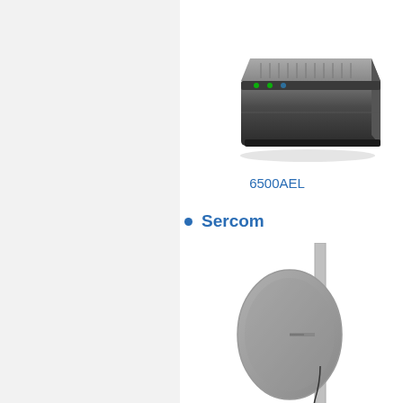[Figure (photo): 6500AEL network router/modem device, dark flat box shape]
6500AEL
[Figure (photo): 4900R outdoor wireless access point, white rectangular enclosure (partially visible, cut off at right edge)]
4900R
Sercom
[Figure (photo): OC3505 outdoor antenna/dish mounted on a pole with mounting hardware]
OC3505
Zyxel
[Figure (photo): Two Zyxel wireless access point devices, white rounded rectangular enclosures with ZYXEL branding, partially visible at bottom]
ZYXEL